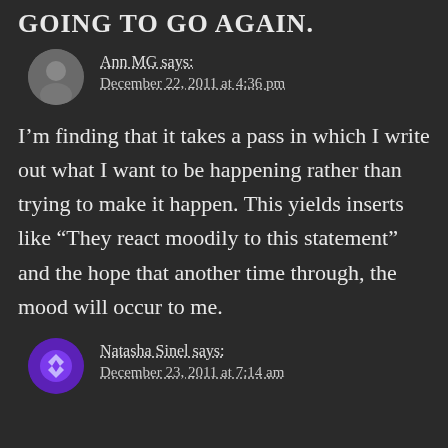GOING TO GO AGAIN.
Ann MG says:
December 22, 2011 at 4:36 pm
I’m finding that it takes a pass in which I write out what I want to be happening rather than trying to make it happen. This yields inserts like “They react moodily to this statement” and the hope that another time through, the mood will occur to me.
Natasha Sinel says:
December 23, 2011 at 7:14 am